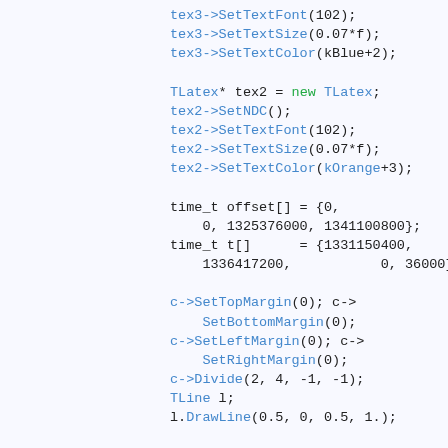[Figure (other): Source code snippet in C++ with syntax highlighting. Shows TLatex object setup, time_t arrays, canvas margin/divide calls, and a for loop with nested for loop.]